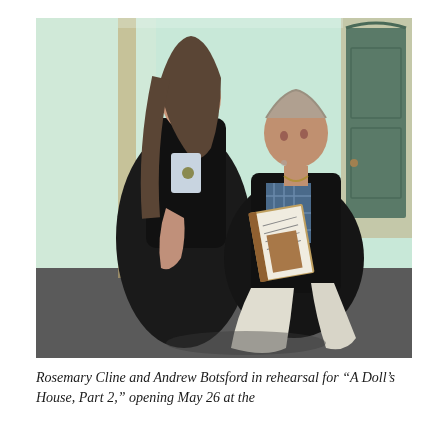[Figure (photo): Two actors in rehearsal: a woman in a long black velvet dress with dark hair leaning forward toward a man sitting on the floor holding an open book. They are in a room with mint-green walls and a door visible in the background. The man wears a dark blazer and light trousers.]
Rosemary Cline and Andrew Botsford in rehearsal for "A Doll's House, Part 2," opening May 26 at the